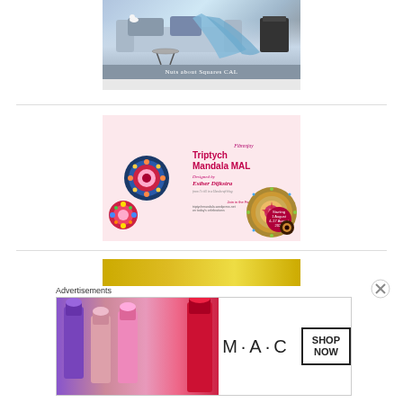[Figure (photo): Nuts about Squares CAL banner: living room scene with blue crochet blanket draped over sofa, with caption 'Nuts about Squares CAL' on grey bar]
[Figure (illustration): Triptych Mandala MAL advertisement on pink background with three mandala circles, text: 'Fibrenjoy Triptych Mandala MAL Designed by Esther Dijkstra']
[Figure (photo): Partial banner at top of advertisements section]
Advertisements
[Figure (photo): MAC cosmetics advertisement showing lipsticks with SHOP NOW button]